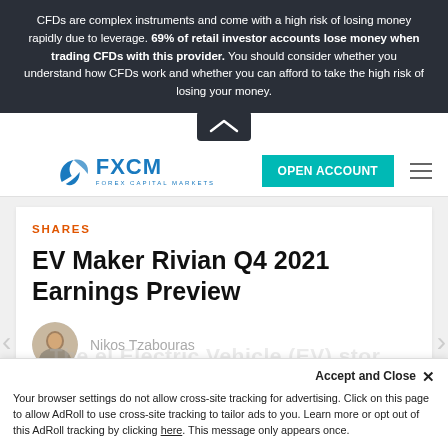CFDs are complex instruments and come with a high risk of losing money rapidly due to leverage. 69% of retail investor accounts lose money when trading CFDs with this provider. You should consider whether you understand how CFDs work and whether you can afford to take the high risk of losing your money.
[Figure (logo): FXCM Forex Capital Markets logo with blue swoosh icon and OPEN ACCOUNT teal button]
SHARES
EV Maker Rivian Q4 2021 Earnings Preview
Nikos Tzabouras
Accept and Close ✕
Your browser settings do not allow cross-site tracking for advertising. Click on this page to allow AdRoll to use cross-site tracking to tailor ads to you. Learn more or opt out of this AdRoll tracking by clicking here. This message only appears once.